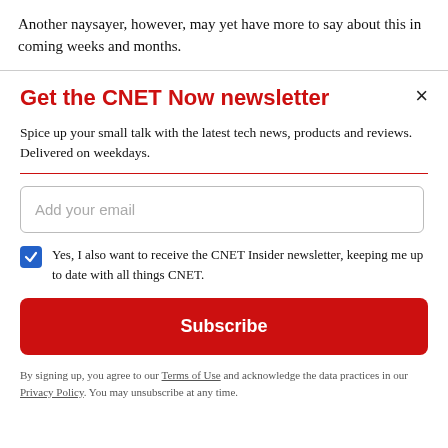Another naysayer, however, may yet have more to say about this in coming weeks and months.
Get the CNET Now newsletter
Spice up your small talk with the latest tech news, products and reviews. Delivered on weekdays.
Add your email
Yes, I also want to receive the CNET Insider newsletter, keeping me up to date with all things CNET.
Subscribe
By signing up, you agree to our Terms of Use and acknowledge the data practices in our Privacy Policy. You may unsubscribe at any time.